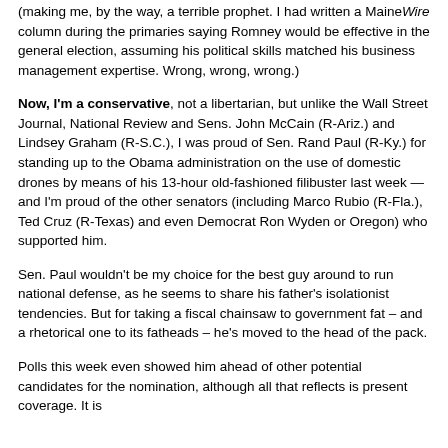(making me, by the way, a terrible prophet. I had written a MaineWire column during the primaries saying Romney would be effective in the general election, assuming his political skills matched his business management expertise. Wrong, wrong, wrong.)
Now, I'm a conservative, not a libertarian, but unlike the Wall Street Journal, National Review and Sens. John McCain (R-Ariz.) and Lindsey Graham (R-S.C.), I was proud of Sen. Rand Paul (R-Ky.) for standing up to the Obama administration on the use of domestic drones by means of his 13-hour old-fashioned filibuster last week — and I'm proud of the other senators (including Marco Rubio (R-Fla.), Ted Cruz (R-Texas) and even Democrat Ron Wyden or Oregon) who supported him.
Sen. Paul wouldn't be my choice for the best guy around to run national defense, as he seems to share his father's isolationist tendencies. But for taking a fiscal chainsaw to government fat – and a rhetorical one to its fatheads – he's moved to the head of the pack.
Polls this week even showed him ahead of other potential candidates for the nomination, although all that reflects is present coverage. It is